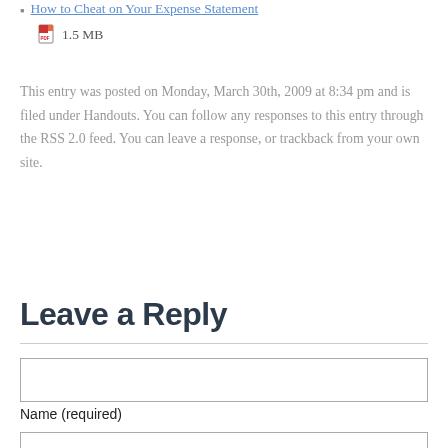How to Cheat on Your Expense Statement
1.5 MB
This entry was posted on Monday, March 30th, 2009 at 8:34 pm and is filed under Handouts. You can follow any responses to this entry through the RSS 2.0 feed. You can leave a response, or trackback from your own site.
Leave a Reply
Name (required)
Mail (will not be published) (required)